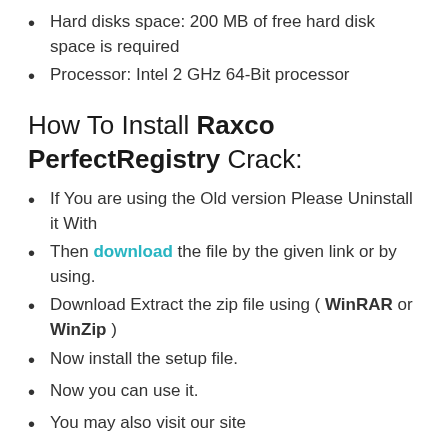Hard disks space: 200 MB of free hard disk space is required
Processor: Intel 2 GHz 64-Bit processor
How To Install Raxco PerfectRegistry Crack:
If You are using the Old version Please Uninstall it With
Then download the file by the given link or by using.
Download Extract the zip file using ( WinRAR or WinZip )
Now install the setup file.
Now you can use it.
You may also visit our site